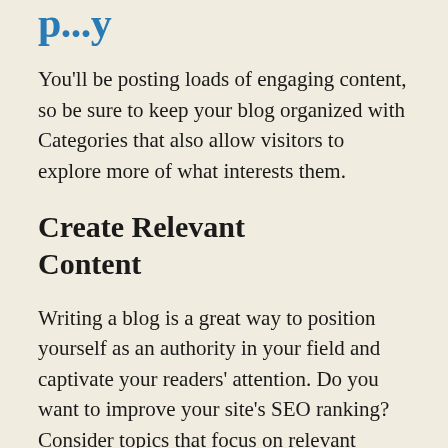p...y
You'll be posting loads of engaging content, so be sure to keep your blog organized with Categories that also allow visitors to explore more of what interests them.
Create Relevant Content
Writing a blog is a great way to position yourself as an authority in your field and captivate your readers' attention. Do you want to improve your site's SEO ranking? Consider topics that focus on relevant keywords and relate back to your